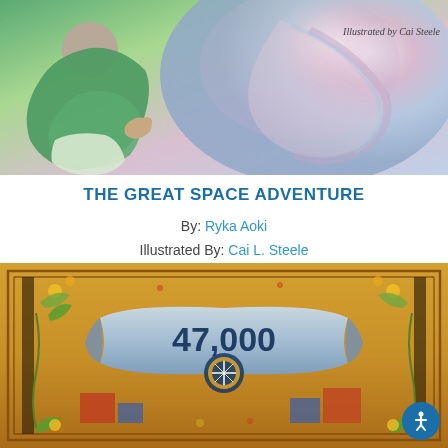[Figure (illustration): Top portion of a book cover showing a figure in green clothing with colorful cosmic swirls and the text 'Illustrated by Cai Steele']
THE GREAT SPACE ADVENTURE
By: Ryka Aoki
Illustrated By: Cai L. Steele
A nonbinary kid on a lyrical space adventure gets to meet and make friends with all the planets in this scientifically factual, lavishly illustrated book.
[Figure (illustration): Bottom portion of another book cover showing decorative border with floral motifs and a banner reading '47,000' with a compass rose design, on a golden/orange background]